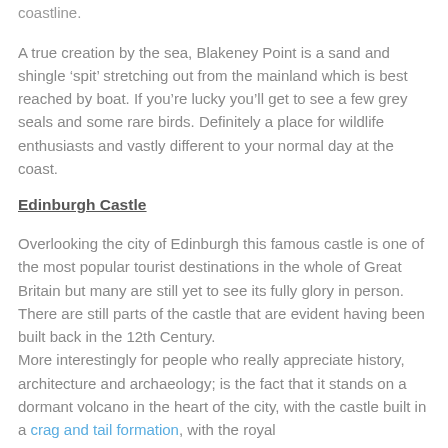coastline.
A true creation by the sea, Blakeney Point is a sand and shingle ‘spit’ stretching out from the mainland which is best reached by boat. If you’re lucky you’ll get to see a few grey seals and some rare birds. Definitely a place for wildlife enthusiasts and vastly different to your normal day at the coast.
Edinburgh Castle
Overlooking the city of Edinburgh this famous castle is one of the most popular tourist destinations in the whole of Great Britain but many are still yet to see its fully glory in person. There are still parts of the castle that are evident having been built back in the 12th Century.
More interestingly for people who really appreciate history, architecture and archaeology; is the fact that it stands on a dormant volcano in the heart of the city, with the castle built in a crag and tail formation, with the royal